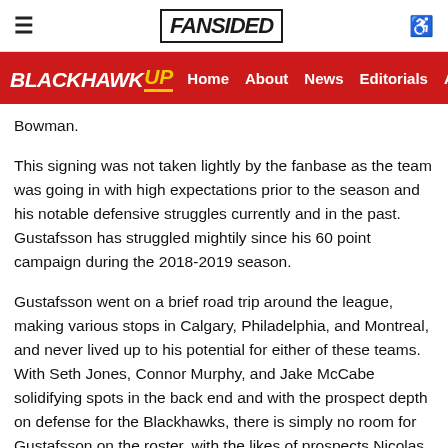FANSIDED
BLACKHAWK UP — Home  About  News  Editorials  An
Bowman.
This signing was not taken lightly by the fanbase as the team was going in with high expectations prior to the season and his notable defensive struggles currently and in the past. Gustafsson has struggled mightily since his 60 point campaign during the 2018-2019 season.
Gustafsson went on a brief road trip around the league, making various stops in Calgary, Philadelphia, and Montreal, and never lived up to his potential for either of these teams. With Seth Jones, Connor Murphy, and Jake McCabe solidifying spots in the back end and with the prospect depth on defense for the Blackhawks, there is simply no room for Gustafsson on the roster, with the likes of prospects Nicolas Beaudin, Caleb Jones, and Wyatt Kalynuk.
Gustafsson will probably be seen as a #5 or #6 defenseman in the lineup with a playoff-contending team with some minor defensive or scoring woes from their back end.